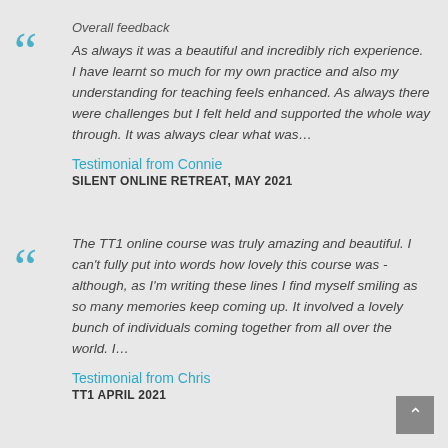Overall feedback
As always it was a beautiful and incredibly rich experience. I have learnt so much for my own practice and also my understanding for teaching feels enhanced. As always there were challenges but I felt held and supported the whole way through. It was always clear what was…
Testimonial from Connie
SILENT ONLINE RETREAT, MAY 2021
The TT1 online course was truly amazing and beautiful. I can't fully put into words how lovely this course was - although, as I'm writing these lines I find myself smiling as so many memories keep coming up. It involved a lovely bunch of individuals coming together from all over the world. I…
Testimonial from Chris
TT1 APRIL 2021